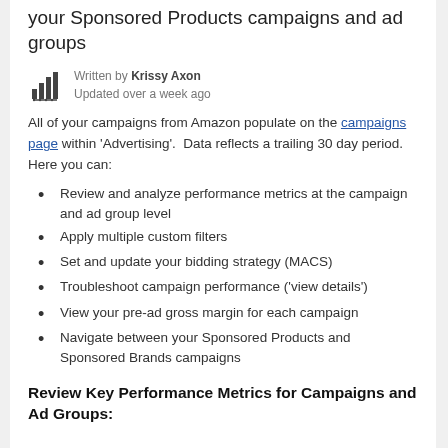your Sponsored Products campaigns and ad groups
Written by Krissy Axon
Updated over a week ago
All of your campaigns from Amazon populate on the campaigns page within 'Advertising'. Data reflects a trailing 30 day period. Here you can:
Review and analyze performance metrics at the campaign and ad group level
Apply multiple custom filters
Set and update your bidding strategy (MACS)
Troubleshoot campaign performance ('view details')
View your pre-ad gross margin for each campaign
Navigate between your Sponsored Products and Sponsored Brands campaigns
Review Key Performance Metrics for Campaigns and Ad Groups: